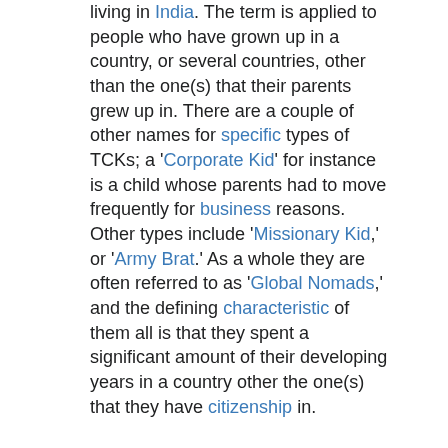living in India. The term is applied to people who have grown up in a country, or several countries, other than the one(s) that their parents grew up in. There are a couple of other names for specific types of TCKs; a 'Corporate Kid' for instance is a child whose parents had to move frequently for business reasons. Other types include 'Missionary Kid,' or 'Army Brat.' As a whole they are often referred to as 'Global Nomads,' and the defining characteristic of them all is that they spent a significant amount of their developing years in a country other the one(s) that they have citizenship in.